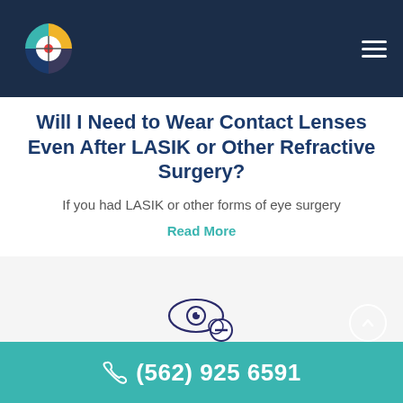Navigation header with logo and menu
Will I Need to Wear Contact Lenses Even After LASIK or Other Refractive Surgery?
If you had LASIK or other forms of eye surgery
Read More
[Figure (illustration): Eye icon with a minus/remove symbol indicating contact lens removal]
Contacts or Glasses: Which Are
(562) 925 6591